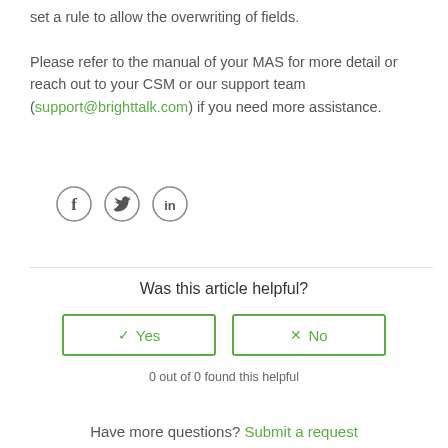set a rule to allow the overwriting of fields.

Please refer to the manual of your MAS for more detail or reach out to your CSM or our support team (support@brighttalk.com) if you need more assistance.
[Figure (illustration): Three circular social media icon buttons: Facebook (f), Twitter (bird), LinkedIn (in)]
Was this article helpful?
✓ Yes
✗ No
0 out of 0 found this helpful
Have more questions? Submit a request